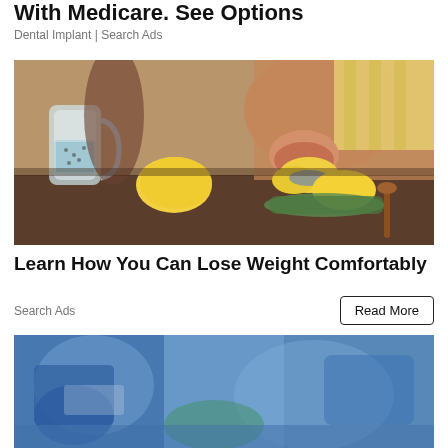With Medicare. See Options
Dental Implant | Search Ads
[Figure (photo): Person squeezing a lemon with hands over a kitchen counter with lemons, a glass pitcher of water, cucumber, and a honey dipper]
Learn How You Can Lose Weight Comfortably
Search Ads
[Figure (photo): Partial view of colorful clothing or fabric with blue tones, partially visible at the bottom of the page]